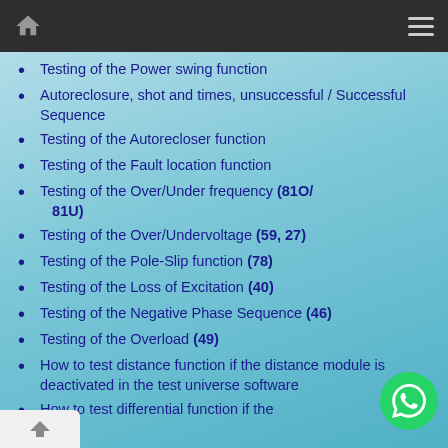Navigation bar with home icon and menu icon
Testing of the Power swing function
Autoreclosure, shot and times, unsuccessful / Successful Sequence
Testing of the Autorecloser function
Testing of the Fault location function
Testing of the Over/Under frequency (81O/81U)
Testing of the Over/Undervoltage (59, 27)
Testing of the Pole-Slip function (78)
Testing of the Loss of Excitation (40)
Testing of the Negative Phase Sequence (46)
Testing of the Overload (49)
How to test distance function if the distance module is deactivated in the test universe software
How to test differential function if the